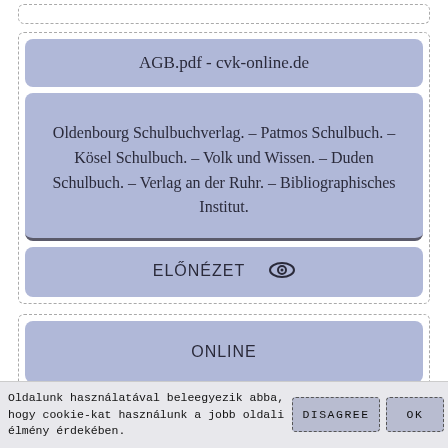AGB.pdf - cvk-online.de
Oldenbourg Schulbuchverlag. – Patmos Schulbuch. – Kösel Schulbuch. – Volk und Wissen. – Duden Schulbuch. – Verlag an der Ruhr. – Bibliographisches Institut.
ELŐNÉZET
ONLINE
Oldalunk használatával beleegyezik abba, hogy cookie-kat használunk a jobb oldali élmény érdekében.